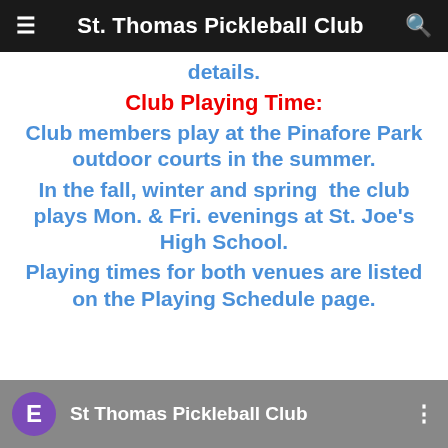St. Thomas Pickleball Club
details.
Club Playing Time:
Club members play at the Pinafore Park outdoor courts in the summer. In the fall, winter and spring the club plays Mon. & Fri. evenings at St. Joe's High School. Playing times for both venues are listed on the Playing Schedule page.
[Figure (screenshot): Footer strip showing a purple circle with letter E, text 'St Thomas Pickleball Club', and a three-dot menu icon, on a dark cloudy background.]